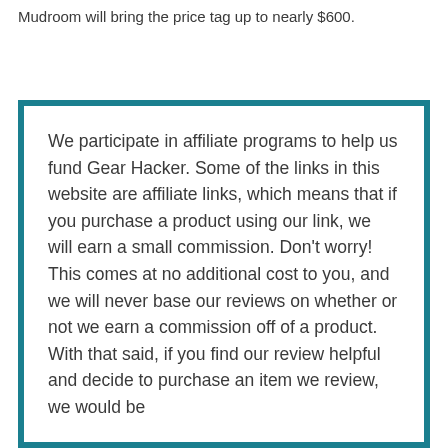Mudroom will bring the price tag up to nearly $600.
We participate in affiliate programs to help us fund Gear Hacker. Some of the links in this website are affiliate links, which means that if you purchase a product using our link, we will earn a small commission. Don't worry! This comes at no additional cost to you, and we will never base our reviews on whether or not we earn a commission off of a product. With that said, if you find our review helpful and decide to purchase an item we review, we would be